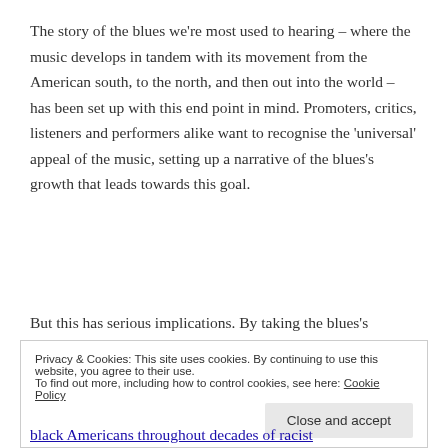The story of the blues we're most used to hearing – where the music develops in tandem with its movement from the American south, to the north, and then out into the world – has been set up with this end point in mind. Promoters, critics, listeners and performers alike want to recognise the 'universal' appeal of the music, setting up a narrative of the blues's growth that leads towards this goal.
But this has serious implications. By taking the blues's
Privacy & Cookies: This site uses cookies. By continuing to use this website, you agree to their use.
To find out more, including how to control cookies, see here: Cookie Policy
black Americans throughout decades of racist